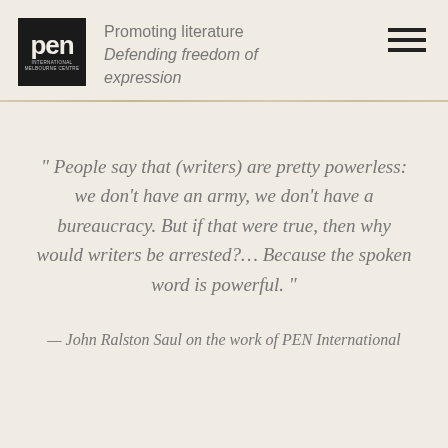PEN International Melbourne Centre — Promoting literature Defending freedom of expression
" People say that (writers) are pretty powerless: we don't have an army, we don't have a bureaucracy. But if that were true, then why would writers be arrested?… Because the spoken word is powerful. "
— John Ralston Saul on the work of PEN International